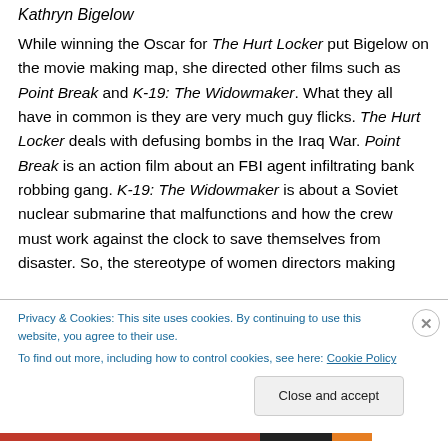Kathryn Bigelow
While winning the Oscar for The Hurt Locker put Bigelow on the movie making map, she directed other films such as Point Break and K-19: The Widowmaker. What they all have in common is they are very much guy flicks. The Hurt Locker deals with defusing bombs in the Iraq War. Point Break is an action film about an FBI agent infiltrating bank robbing gang. K-19: The Widowmaker is about a Soviet nuclear submarine that malfunctions and how the crew must work against the clock to save themselves from disaster. So, the stereotype of women directors making
Privacy & Cookies: This site uses cookies. By continuing to use this website, you agree to their use.
To find out more, including how to control cookies, see here: Cookie Policy
Close and accept